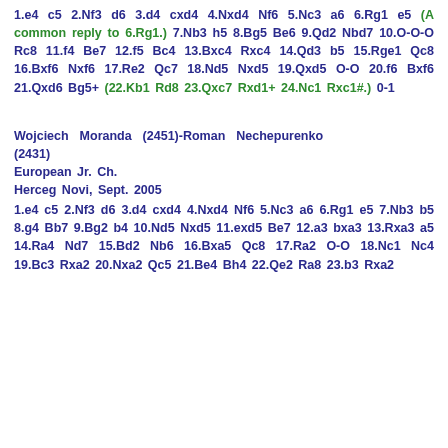1.e4 c5 2.Nf3 d6 3.d4 cxd4 4.Nxd4 Nf6 5.Nc3 a6 6.Rg1 e5 (A common reply to 6.Rg1.) 7.Nb3 h5 8.Bg5 Be6 9.Qd2 Nbd7 10.O-O-O Rc8 11.f4 Be7 12.f5 Bc4 13.Bxc4 Rxc4 14.Qd3 b5 15.Rge1 Qc8 16.Bxf6 Nxf6 17.Re2 Qc7 18.Nd5 Nxd5 19.Qxd5 O-O 20.f6 Bxf6 21.Qxd6 Bg5+ (22.Kb1 Rd8 23.Qxc7 Rxd1+ 24.Nc1 Rxc1#.) 0-1
Wojciech Moranda (2451)-Roman Nechepurenko (2431) European Jr. Ch. Herceg Novi, Sept. 2005
1.e4 c5 2.Nf3 d6 3.d4 cxd4 4.Nxd4 Nf6 5.Nc3 a6 6.Rg1 e5 7.Nb3 b5 8.g4 Bb7 9.Bg2 b4 10.Nd5 Nxd5 11.exd5 Be7 12.a3 bxa3 13.Rxa3 a5 14.Ra4 Nd7 15.Bd2 Nb6 16.Bxa5 Qc8 17.Ra2 O-O 18.Nc1 Nc4 19.Bc3 Rxa2 20.Nxa2 Qc5 21.Be4 Bh4 22.Qe2 Ra8 23.b3 Rxa2